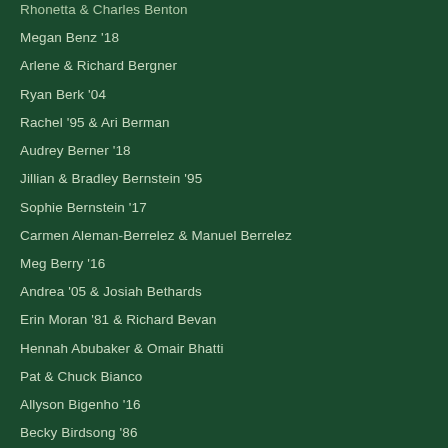Rhonetta & Charles Benton
Megan Benz '18
Arlene & Richard Bergner
Ryan Berk '04
Rachel '95 & Ari Berman
Audrey Berner '18
Jillian & Bradley Bernstein '95
Sophie Bernstein '17
Carmen Aleman-Berrelez & Manuel Berrelez
Meg Berry '16
Andrea '05 & Josiah Bethards
Erin Moran '81 & Richard Bevan
Hennah Abubaker & Omair Bhatti
Pat & Chuck Bianco
Allyson Bigenho '16
Becky Birdsong '86
Jana & Marc Birenbaum '87